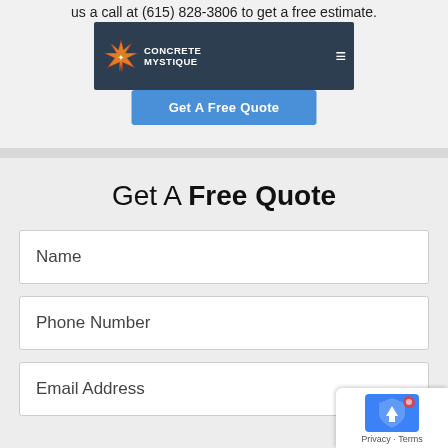us a call at (615) 828-3806 to get a free estimate.
[Figure (screenshot): Concrete Mystique website navigation bar with logo and hamburger menu on dark blue background, with blue 'Get A Free Quote' button below]
Get A Free Quote
Name
Phone Number
Email Address
[Figure (other): Privacy badge overlay in bottom right corner with blue shield icon and 'Privacy - Terms' text]